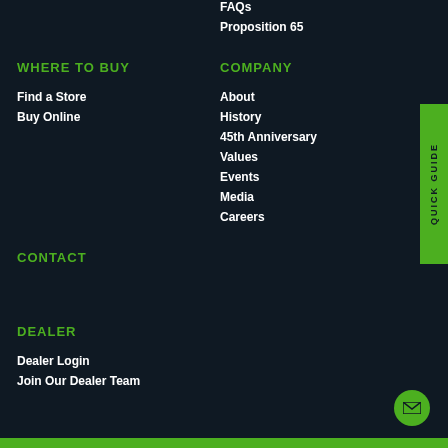FAQs
Proposition 65
WHERE TO BUY
Find a Store
Buy Online
COMPANY
About
History
45th Anniversary
Values
Events
Media
Careers
CONTACT
DEALER
Dealer Login
Join Our Dealer Team